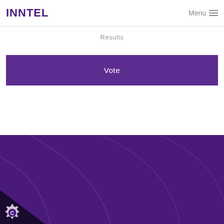INNTEL  Menu ≡
Results
Vote
[Figure (illustration): Dark purple footer background with decorative curved arc lines and a dark triangular corner at bottom-left containing a gear/C badge icon]